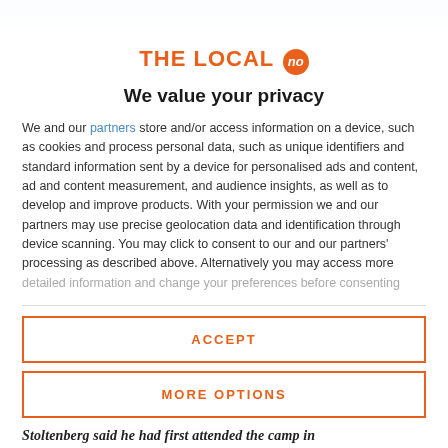[Figure (photo): Partial photo strip at top of page showing outdoor scene]
THE LOCAL no
We value your privacy
We and our partners store and/or access information on a device, such as cookies and process personal data, such as unique identifiers and standard information sent by a device for personalised ads and content, ad and content measurement, and audience insights, as well as to develop and improve products. With your permission we and our partners may use precise geolocation data and identification through device scanning. You may click to consent to our and our partners' processing as described above. Alternatively you may access more detailed information and change your preferences before consenting
ACCEPT
MORE OPTIONS
Stoltenberg said he had first attended the camp in